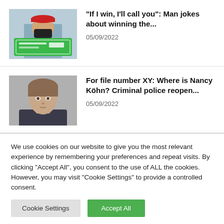[Figure (photo): Man holding a large green lottery winner's check, wearing a red cap and black mask]
“If I win, I’ll call you”: Man jokes about winning the...
05/09/2022
[Figure (photo): Young woman with short hair, appears to be a police file photo or mugshot]
For file number XY: Where is Nancy Köhn? Criminal police reopen...
05/09/2022
We use cookies on our website to give you the most relevant experience by remembering your preferences and repeat visits. By clicking “Accept All”, you consent to the use of ALL the cookies. However, you may visit “Cookie Settings” to provide a controlled consent.